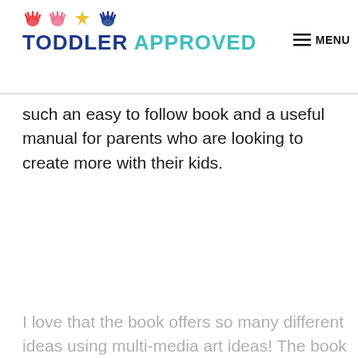TODDLER APPROVED | MENU
such an easy to follow book and a useful manual for parents who are looking to create more with their kids.
I love that the book offers so many different ideas using multi-media art ideas! The book includes 52 activi…